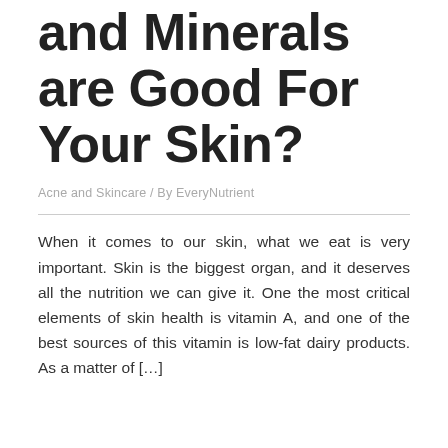and Minerals are Good For Your Skin?
Acne and Skincare / By EveryNutrient
When it comes to our skin, what we eat is very important. Skin is the biggest organ, and it deserves all the nutrition we can give it. One the most critical elements of skin health is vitamin A, and one of the best sources of this vitamin is low-fat dairy products. As a matter of […]